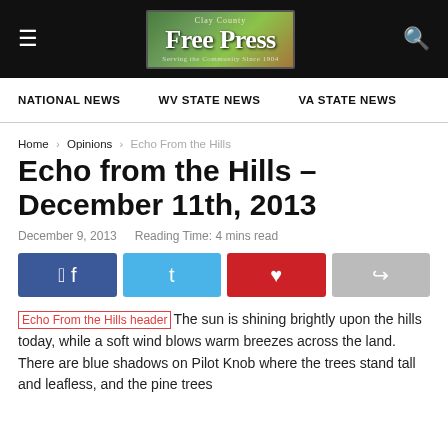Clay County Free Press
NATIONAL NEWS   WV STATE NEWS   VA STATE NEWS
Home › Opinions › Echo From the Hills
Echo from the Hills – December 11th, 2013
December 9, 2013   Reading Time: 4 mins read
[Figure (other): Social sharing buttons: Facebook, Twitter, Pinterest, Share]
The sun is shining brightly upon the hills today, while a soft wind blows warm breezes across the land. There are blue shadows on Pilot Knob where the trees stand tall and leafless, and the pine trees